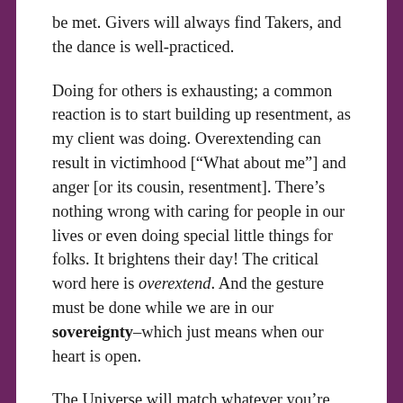be met. Givers will always find Takers, and the dance is well-practiced.
Doing for others is exhausting; a common reaction is to start building up resentment, as my client was doing. Overextending can result in victimhood [“What about me”] and anger [or its cousin, resentment]. There’s nothing wrong with caring for people in our lives or even doing special little things for folks. It brightens their day! The critical word here is overextend. And the gesture must be done while we are in our sovereignty–which just means when our heart is open.
The Universe will match whatever you’re transmitting so you want the gesture to come from a place of radiance, of joy, and lightness